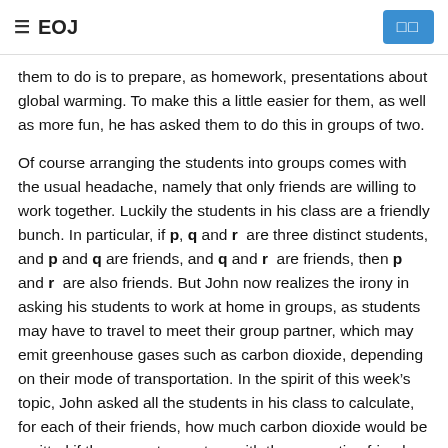≡ EOJ  □□
them to do is to prepare, as homework, presentations about global warming. To make this a little easier for them, as well as more fun, he has asked them to do this in groups of two.
Of course arranging the students into groups comes with the usual headache, namely that only friends are willing to work together. Luckily the students in his class are a friendly bunch. In particular, if p, q and r are three distinct students, and p and q are friends, and q and r are friends, then p and r are also friends. But John now realizes the irony in asking his students to work at home in groups, as students may have to travel to meet their group partner, which may emit greenhouse gases such as carbon dioxide, depending on their mode of transportation. In the spirit of this week's topic, John asked all the students in his class to calculate, for each of their friends, how much carbon dioxide would be emitted if they were to meet up with the respective friend.
Using this information, can you help John figure out what is